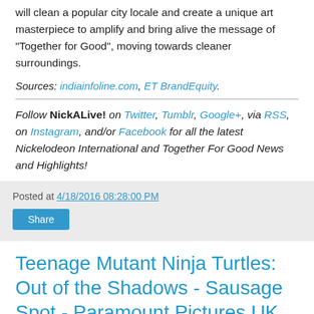will clean a popular city locale and create a unique art masterpiece to amplify and bring alive the message of "Together for Good", moving towards cleaner surroundings.
Sources: indiainfoline.com, ET BrandEquity.
Follow NickALive! on Twitter, Tumblr, Google+, via RSS, on Instagram, and/or Facebook for all the latest Nickelodeon International and Together For Good News and Highlights!
Posted at 4/18/2016 08:28:00 PM
Teenage Mutant Ninja Turtles: Out of the Shadows - Sausage Spot - Paramount Pictures UK
The Heroes in a Half Shell return for a crazy adventure in